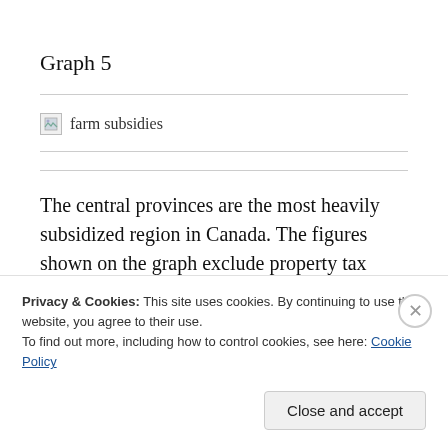Graph 5
[Figure (other): Broken image placeholder for 'farm subsidies' chart]
The central provinces are the most heavily subsidized region in Canada. The figures shown on the graph exclude property tax concessions. A recent Agriculture
Privacy & Cookies: This site uses cookies. By continuing to use this website, you agree to their use.
To find out more, including how to control cookies, see here: Cookie Policy
Close and accept